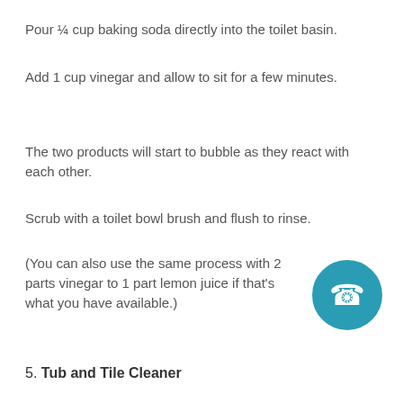Pour ¼ cup baking soda directly into the toilet basin.
Add 1 cup vinegar and allow to sit for a few minutes.
The two products will start to bubble as they react with each other.
Scrub with a toilet bowl brush and flush to rinse.
(You can also use the same process with 2 parts vinegar to 1 part lemon juice if that's what you have available.)
5. Tub and Tile Cleaner